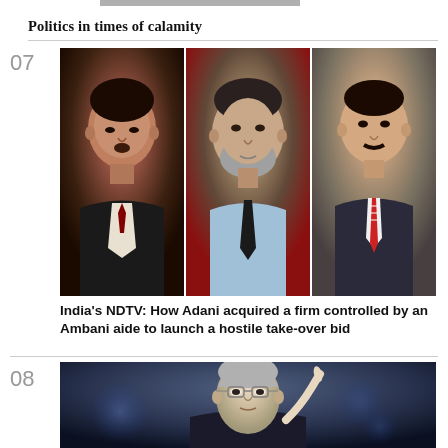Politics in times of calamity
07
[Figure (photo): Three men in a collage photo: left panel shows a dark-complexioned man in a suit speaking at a podium (Mukesh Ambani), center panel shows a bearded man in a light blue shirt with a dark tie against a red background (Prannoy Roy), right panel shows a man in a suit with a striped tie (Gautam Adani).]
India's NDTV: How Adani acquired a firm controlled by an Ambani aide to launch a hostile take-over bid
08
[Figure (photo): An elderly grey-haired man in a dark jacket pointing upward with his index finger, photographed against a dark blue/bokeh background.]